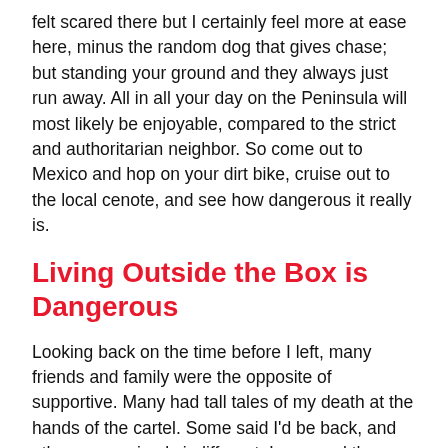felt scared there but I certainly feel more at ease here, minus the random dog that gives chase; but standing your ground and they always just run away. All in all your day on the Peninsula will most likely be enjoyable, compared to the strict and authoritarian neighbor. So come out to Mexico and hop on your dirt bike, cruise out to the local cenote, and see how dangerous it really is.
Living Outside the Box is Dangerous
Looking back on the time before I left, many friends and family were the opposite of supportive. Many had tall tales of my death at the hands of the cartel. Some said I'd be back, and others were simply indifferent. In general the theme of their words maintained the story line of fear. They projected their own fears onto me when they tried to picture them selves doing the same thing.
I actually had only one friend that showed any sort of